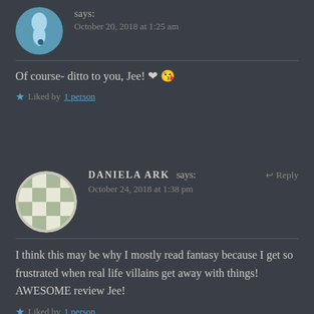says:
October 20, 2018 at 1:25 am
Of course- ditto to you, Jee! ❤ 😘
Liked by 1 person
DANIELA ARK says:
October 24, 2018 at 1:38 pm
I think this may be why I mostly read fantasy because I get so frustrated when real life villains get away with things! AWESOME review Jee!
Liked by 1 person